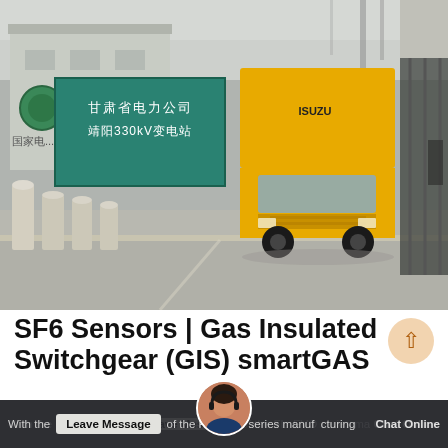[Figure (photo): A yellow ISUZU truck entering through a gate at a Chinese electrical power substation. A teal/green sign board with Chinese characters (甘肃省电力公司 / 靖阳330kV变电站) is visible on the left, with bollards along the road. Industrial structures and power lines visible in the background.]
SF6 Sensors | Gas Insulated Switchgear (GIS) smartGAS
With the release of the FLEX EVO series manufacturing